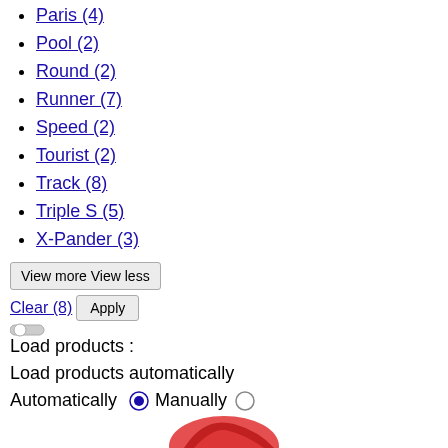Paris (4)
Pool (2)
Round (2)
Runner (7)
Speed (2)
Tourist (2)
Track (8)
Triple S (5)
X-Pander (3)
View more View less
Clear (8)  Apply
Load products :
Load products automatically
Automatically  Manually
[Figure (photo): Partial view of a red shoe or clothing item at bottom of page]